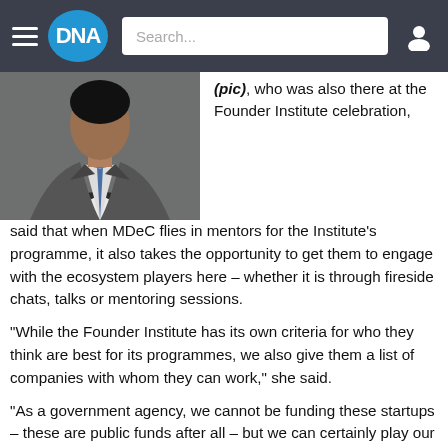DNA — navigation bar with hamburger menu, DNA logo, Search input, and user icon
[Figure (photo): Partial photo of a person wearing a grey suit and white shirt, cropped to show torso/shoulder area, dark background]
(pic), who was also there at the Founder Institute celebration, said that when MDeC flies in mentors for the Institute's programme, it also takes the opportunity to get them to engage with the ecosystem players here – whether it is through fireside chats, talks or mentoring sessions.
“While the Founder Institute has its own criteria for who they think are best for its programmes, we also give them a list of companies with whom they can work,” she said.
“As a government agency, we cannot be funding these startups – these are public funds after all – but we can certainly play our role in supporting, enabling and facilitating the ecosystem here,” she added.